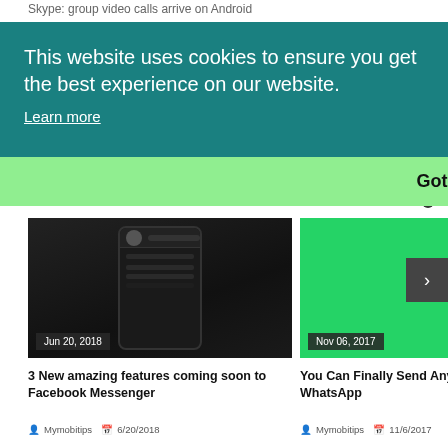Skype: group video calls arrive on Android
This website uses cookies to ensure you get the best experience on our website.
Learn more
Got it!
[Figure (screenshot): Screenshot of Facebook Messenger app on a smartphone with dark background, dated Jun 20, 2018]
[Figure (screenshot): WhatsApp logo on green background, dated Nov 06, 2017]
3 New amazing features coming soon to Facebook Messenger
You Can Finally Send Any File Through WhatsApp
Mymobitips  6/20/2018
Mymobitips  11/6/2017
ENREGISTRER UN COMMENTAIRE
BLOGGER
DISQUS
FACEBOOK